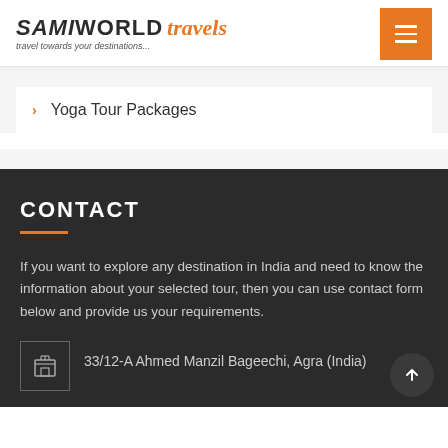[Figure (logo): Sami World Travels logo with tagline 'travel towards your destinations...']
Yoga Tour Packages
CONTACT
If you want to explore any destination in India and need to know the information about your selected tour, then you can use contact form below and provide us your requirements.
33/12-A Ahmed Manzil Bageechi, Agra (India)